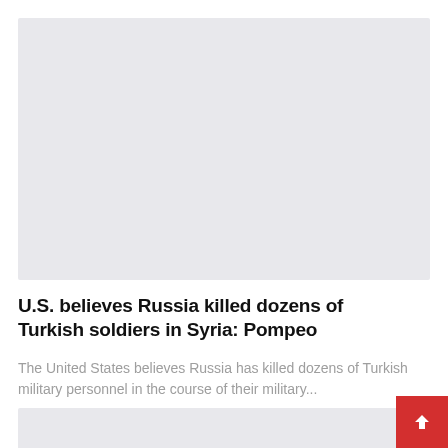[Figure (photo): Light gray image placeholder rectangle at top of page]
U.S. believes Russia killed dozens of Turkish soldiers in Syria: Pompeo
The United States believes Russia has killed dozens of Turkish military personnel in the course of their military...
[Figure (photo): Light gray image placeholder rectangle at bottom of page]